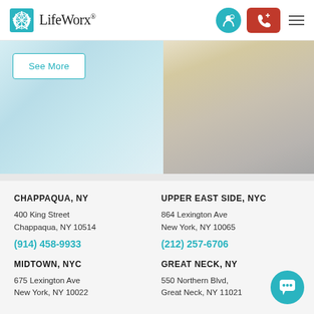LifeWorx
[Figure (photo): Hero image split in two halves: left side shows a light blue interior room scene, right side shows outdoor foliage and brick wall]
See More
CHAPPAQUA, NY
400 King Street
Chappaqua, NY 10514
(914) 458-9933
UPPER EAST SIDE, NYC
864 Lexington Ave
New York, NY 10065
(212) 257-6706
MIDTOWN, NYC
675 Lexington Ave
New York, NY 10022
GREAT NECK, NY
550 Northern Blvd,
Great Neck, NY 11021